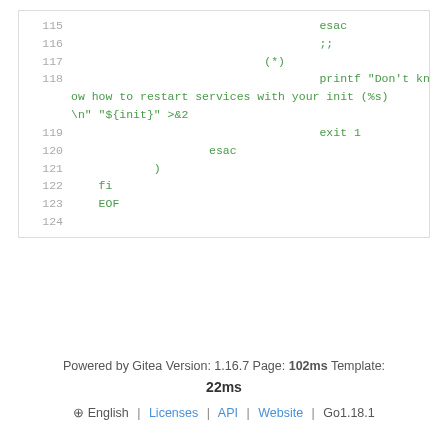[Figure (screenshot): Code viewer snippet showing shell script lines 115-124 with green monospace text and gray line numbers]
Powered by Gitea Version: 1.16.7 Page: 102ms Template: 22ms  ⊕ English | Licenses | API | Website | Go1.18.1